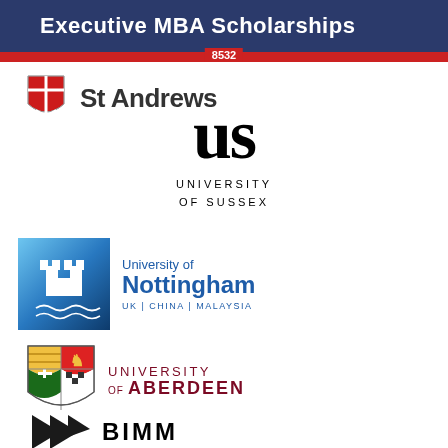Executive MBA Scholarships
8532
[Figure (logo): University of St Andrews logo with red chevron crest and 'St Andrews' text]
[Figure (logo): University of Sussex logo with large 'us' serif letterform and 'UNIVERSITY OF SUSSEX' text]
[Figure (logo): University of Nottingham logo with blue castle icon and 'University of Nottingham UK | CHINA | MALAYSIA' text]
[Figure (logo): University of Aberdeen logo with heraldic shield crest and 'UNIVERSITY OF ABERDEEN' text]
[Figure (logo): BIMM logo with black arrow/chevron shapes and 'BIMM' text]